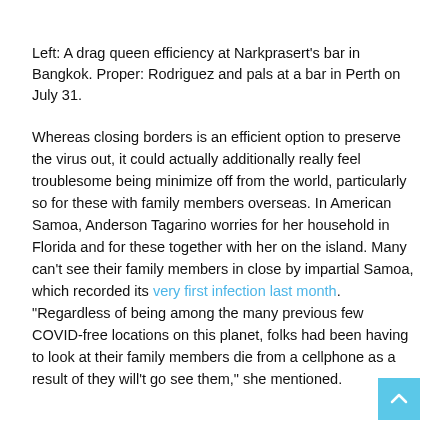Left: A drag queen efficiency at Narkprasert's bar in Bangkok. Proper: Rodriguez and pals at a bar in Perth on July 31.
Whereas closing borders is an efficient option to preserve the virus out, it could actually additionally really feel troublesome being minimize off from the world, particularly so for these with family members overseas. In American Samoa, Anderson Tagarino worries for her household in Florida and for these together with her on the island. Many can't see their family members in close by impartial Samoa, which recorded its very first infection last month. “Regardless of being among the many previous few COVID-free locations on this planet, folks had been having to look at their family members die from a cellphone as a result of they will’t go see them,” she mentioned.